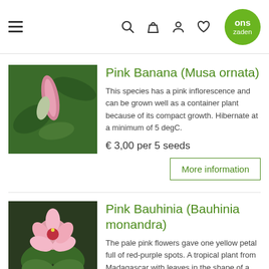ons zaden — navigation bar with hamburger menu, search, basket, account, favorites icons and logo
[Figure (photo): Photo of a pink banana flower bud (Musa ornata) with large green leaves in background]
Pink Banana (Musa ornata)
This species has a pink inflorescence and can be grown well as a container plant because of its compact growth. Hibernate at a minimum of 5 degC.
€ 3,00 per 5 seeds
More information
[Figure (photo): Photo of pale pink Bauhinia monandra flowers with green butterfly-shaped leaves]
Pink Bauhinia (Bauhinia monandra)
The pale pink flowers gave one yellow petal full of red-purple spots. A tropical plant from Madagascar with leaves in the shape of a butterfly.
€ 3,50 per ... seeds